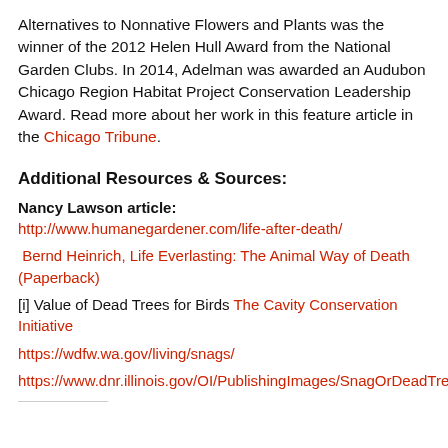Alternatives to Nonnative Flowers and Plants was the winner of the 2012 Helen Hull Award from the National Garden Clubs. In 2014, Adelman was awarded an Audubon Chicago Region Habitat Project Conservation Leadership Award. Read more about her work in this feature article in the Chicago Tribune.
Additional Resources & Sources:
Nancy Lawson article: http://www.humanegardener.com/life-after-death/
Bernd Heinrich, Life Everlasting: The Animal Way of Death (Paperback)
[i] Value of Dead Trees for Birds The Cavity Conservation Initiative
https://wdfw.wa.gov/living/snags/
https://www.dnr.illinois.gov/OI/PublishingImages/SnagOrDeadTree4.jpg